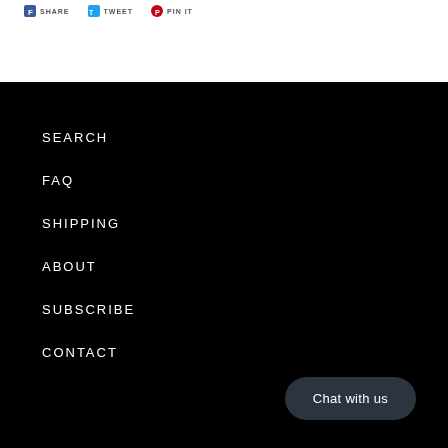[Figure (other): Social sharing icons and labels: Facebook SHARE, Twitter TWEET, Pinterest PIN IT]
SEARCH
FAQ
SHIPPING
ABOUT
SUBSCRIBE
CONTACT
Chat with us